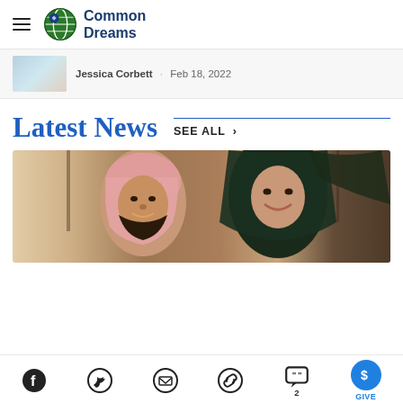Common Dreams
Jessica Corbett · Feb 18, 2022
Latest News
SEE ALL >
[Figure (photo): Two people in traditional Middle Eastern dress — a man wearing a red and white keffiyeh and a woman wearing a black hijab — posing together and smiling.]